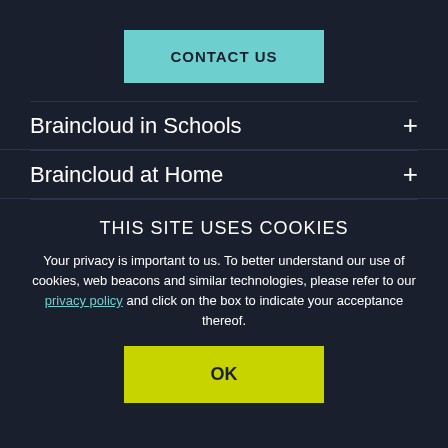CONTACT US
Braincloud in Schools
Braincloud at Home
THIS SITE USES COOKIES
Your privacy is important to us. To better understand our use of cookies, web beacons and similar technologies, please refer to our privacy policy and click on the box to indicate your acceptance thereof.
OK